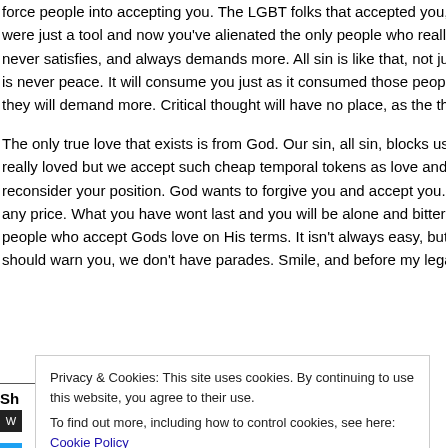force people into accepting you. The LGBT folks that accepted you, have just were just a tool and now you've alienated the only people who really do love y never satisfies, and always demands more. All sin is like that, not just sexual. is never peace. It will consume you just as it consumed those people on TV. T they will demand more. Critical thought will have no place, as the thought polic
The only true love that exists is from God. Our sin, all sin, blocks us from recei really loved but we accept such cheap temporal tokens as love and block out t reconsider your position. God wants to forgive you and accept you. Its absolut any price. What you have wont last and you will be alone and bitter. Christians people who accept Gods love on His terms. It isn't always easy, but its true. W should warn you, we don't have parades. Smile, and before my legal right to s
Privacy & Cookies: This site uses cookies. By continuing to use this website, you agree to their use.
To find out more, including how to control cookies, see here: Cookie Policy
Close and accept